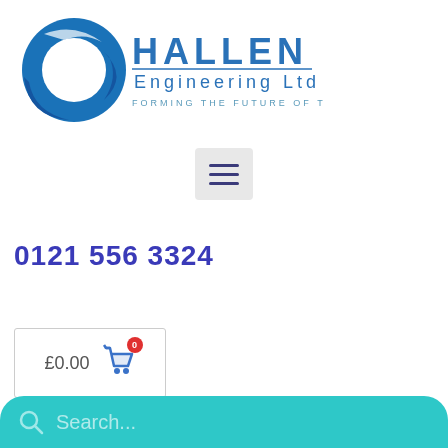[Figure (logo): Hallen Engineering Ltd logo — blue circular ring icon on left, with company name HALLEN in large blue letters, Engineering Ltd below, and tagline FORMING THE FUTURE OF TUBE]
[Figure (other): Hamburger menu icon — three horizontal lines on a light grey rounded rectangle background]
0121 556 3324
[Figure (other): Shopping cart widget showing £0.00 with a blue cart icon and red badge showing 0 items, inside a bordered box]
[Figure (other): Search bar with teal/turquoise background, magnifying glass icon, and placeholder text 'Search...']